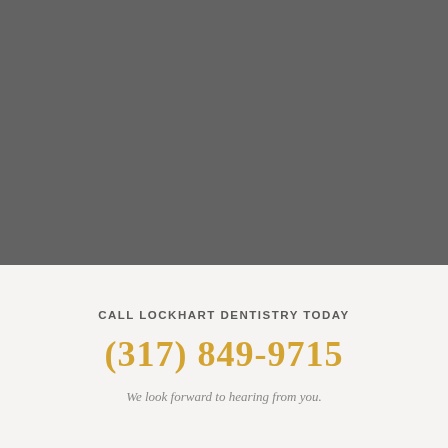[Figure (photo): Gray rectangular image placeholder occupying the top portion of the page]
CALL LOCKHART DENTISTRY TODAY
(317) 849-9715
We look forward to hearing from you.